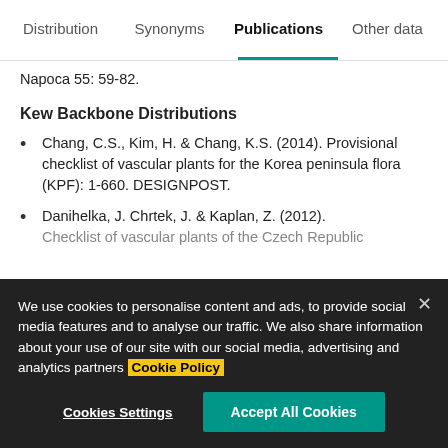Distribution | Synonyms | Publications | Other data
Napoca 55: 59-82.
Kew Backbone Distributions
Chang, C.S., Kim, H. & Chang, K.S. (2014). Provisional checklist of vascular plants for the Korea peninsula flora (KPF): 1-660. DESIGNPOST.
Danihelka, J. Chrtek, J. & Kaplan, Z. (2012). Checklist of vascular plants of the Czech Republic...
We use cookies to personalise content and ads, to provide social media features and to analyse our traffic. We also share information about your use of our site with our social media, advertising and analytics partners Cookie Policy
Cookies Settings | Accept All Cookies